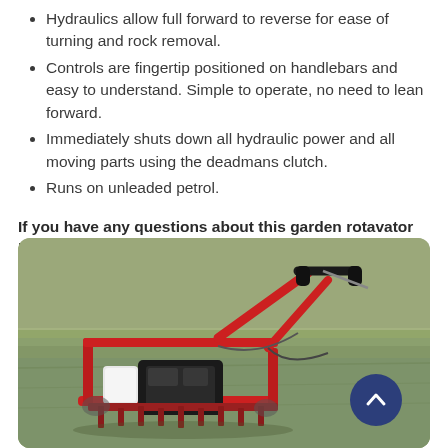Hydraulics allow full forward to reverse for ease of turning and rock removal.
Controls are fingertip positioned on handlebars and easy to understand. Simple to operate, no need to lean forward.
Immediately shuts down all hydraulic power and all moving parts using the deadmans clutch.
Runs on unleaded petrol.
If you have any questions about this garden rotavator hire, contact TFM Hire or call 01522 694235
[Figure (photo): Red garden rotavator machine photographed on a grass field, showing handlebars, engine, and tilling frame from a front-side angle.]